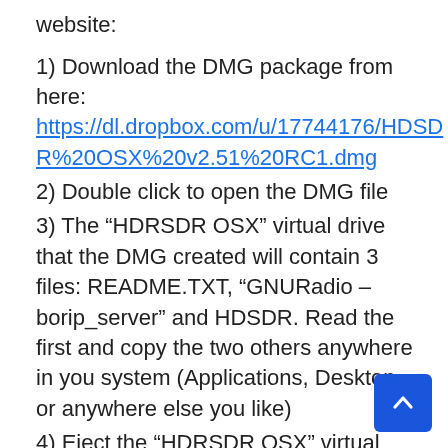website:
1) Download the DMG package from here: https://dl.dropbox.com/u/17744176/HDSDR%20OSX%20v2.51%20RC1.dmg
2) Double click to open the DMG file
3) The “HDRSDR OSX” virtual drive that the DMG created will contain 3 files: README.TXT, “GNURadio – borip_server” and HDSDR. Read the first and copy the two others anywhere in you system (Applications, Desktop or anywhere else you like)
4) Eject the “HDRSDR OSX” virtual drive. You can now also erase the DMG, if you want
5) Double click on the “GNURadio – borip_server” application (that you have just copied) in order to run it